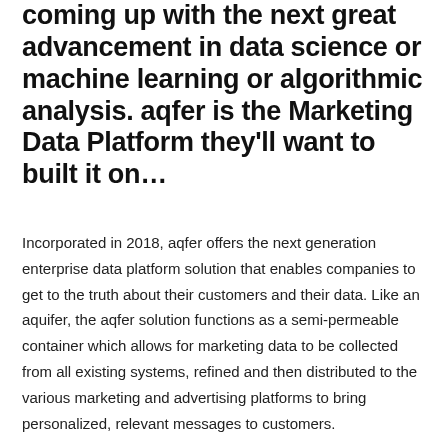coming up with the next great advancement in data science or machine learning or algorithmic analysis. aqfer is the Marketing Data Platform they'll want to built it on…
Incorporated in 2018, aqfer offers the next generation enterprise data platform solution that enables companies to get to the truth about their customers and their data. Like an aquifer, the aqfer solution functions as a semi-permeable container which allows for marketing data to be collected from all existing systems, refined and then distributed to the various marketing and advertising platforms to bring personalized, relevant messages to customers.